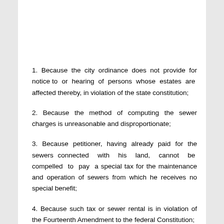1. Because the city ordinance does not provide for notice to or hearing of persons whose estates are affected thereby, in violation of the state constitution;
2. Because the method of computing the sewer charges is unreasonable and disproportionate;
3. Because petitioner, having already paid for the sewers connected with his land, cannot be compelled to pay a special tax for the maintenance and operation of sewers from which he receives no special benefit;
4. Because such tax or sewer rental is in violation of the Fourteenth Amendment to the federal Constitution;